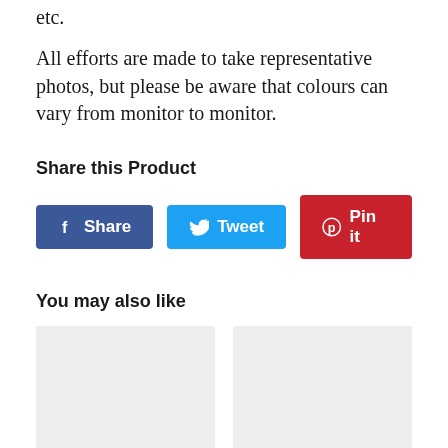etc.
All efforts are made to take representative photos, but please be aware that colours can vary from monitor to monitor.
Share this Product
[Figure (other): Three social sharing buttons: Facebook Share (blue), Twitter Tweet (light blue), Pinterest Pin it (red)]
You may also like
[Figure (other): Two placeholder product image boxes side by side with light grey background]